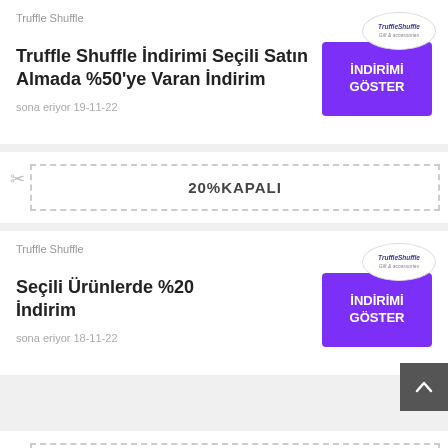Truffle Shuffle
Truffle Shuffle İndirimi Seçili Satın Almada %50'ye Varan İndirim
sona eriyor 19-11-22
20%KAPALI
Truffle Shuffle
Seçili Ürünlerde %20 İndirim
sona eriyor 18-11-22
40%KAPALI